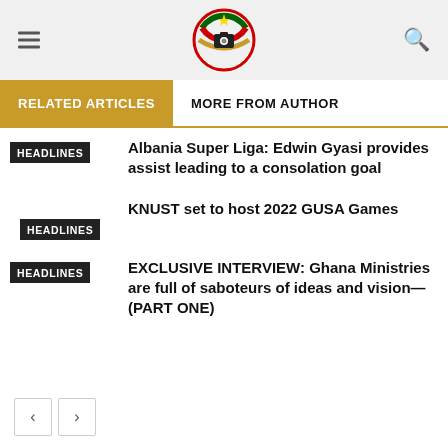AG News logo with RELATED ARTICLES / MORE FROM AUTHOR navigation
RELATED ARTICLES
MORE FROM AUTHOR
Albania Super Liga: Edwin Gyasi provides assist leading to a consolation goal
KNUST set to host 2022 GUSA Games
EXCLUSIVE INTERVIEW: Ghana Ministries are full of saboteurs of ideas and vision—(PART ONE)